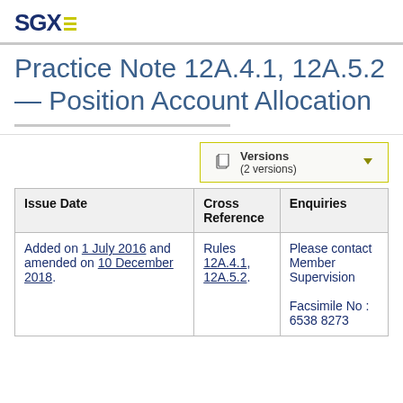SGX
Practice Note 12A.4.1, 12A.5.2 — Position Account Allocation
Versions (2 versions)
| Issue Date | Cross Reference | Enquiries |
| --- | --- | --- |
| Added on 1 July 2016 and amended on 10 December 2018. | Rules 12A.4.1, 12A.5.2. | Please contact Member Supervision

Facsimile No : 6538 8273 |